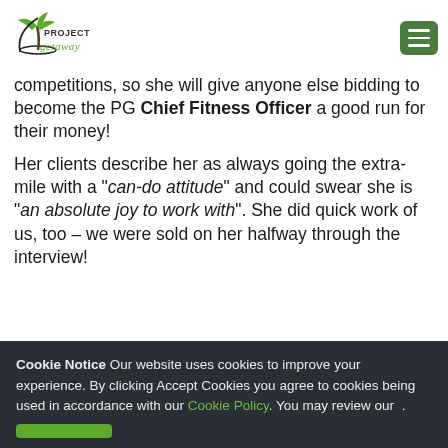Project Getaway logo and menu button
competitions, so she will give anyone else bidding to become the PG Chief Fitness Officer a good run for their money!
Her clients describe her as always going the extra-mile with a "can-do attitude" and could swear she is "an absolute joy to work with". She did quick work of us, too – we were sold on her halfway through the interview!
Cookie Notice Our website uses cookies to improve your experience. By clicking Accept Cookies you agree to cookies being used in accordance with our Cookie Policy. You may review our .